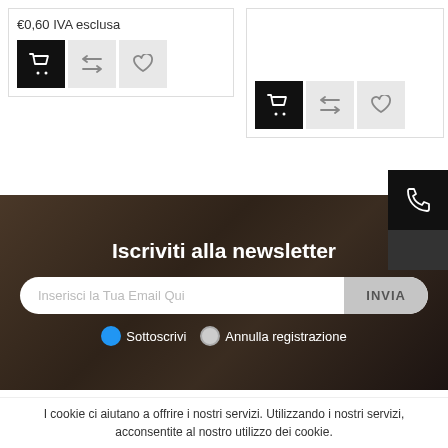[Figure (screenshot): E-commerce product card with price €0,60 IVA esclusa and action buttons (cart, compare, wishlist)]
[Figure (screenshot): E-commerce product card (partial) with action buttons (cart, compare, wishlist) on right side]
[Figure (screenshot): Phone icon button on dark background, top right corner]
[Figure (screenshot): Newsletter signup section with dark photo background]
Iscriviti alla newsletter
Inserisci la Tua Email Qui
INVIA
Sottoscrivi   Annulla registrazione
Informazioni
I cookie ci aiutano a offrire i nostri servizi. Utilizzando i nostri servizi, acconsentite al nostro utilizzo dei cookie.